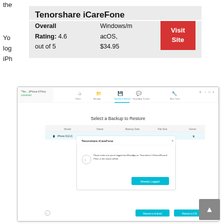the
Tenorshare iCareFone
Overall Rating: 4.6 out of 5   Windows/macOS, $34.95   Visit Site
Yo
log
iPh
[Figure (screenshot): Screenshot of Tenorshare iCareFone software showing 'Select a Backup to Restore' screen with a dialog prompt asking user to make sure they are logged into WhatsApp, with a 'Already Logged' button. Bottom shows 'Restore to Android' and 'Restore to iOS' buttons.]